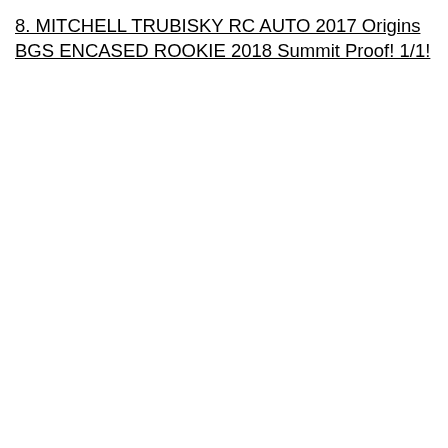8. MITCHELL TRUBISKY RC AUTO 2017 Origins BGS ENCASED ROOKIE 2018 Summit Proof! 1/1!